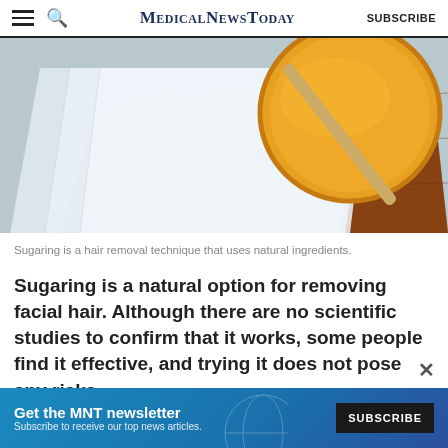MedicalNewsToday  SUBSCRIBE
[Figure (photo): Bowl of orange sugaring wax with a wooden applicator stick on a wooden board, alongside folded white waxing strips, on a gray background.]
Sugaring is a hair removal technique that uses natural ingredients.
Sugaring is a natural option for removing facial hair. Although there are no scientific studies to confirm that it works, some people find it effective, and trying it does not pose any risks.
ADVERTISEMENT
[Figure (infographic): Advertisement banner: Get the MNT newsletter. Subscribe to receive our top news articles. SUBSCRIBE button.]